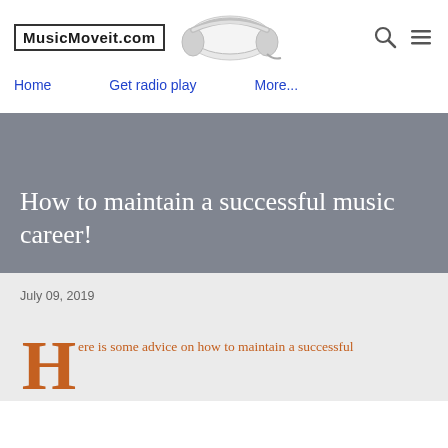MusicMoveit.com
[Figure (illustration): Illustration of white headphones/earbuds on a white/grey background]
Home   Get radio play   More...
How to maintain a successful music career!
July 09, 2019
Here is some advice on how to maintain a successful